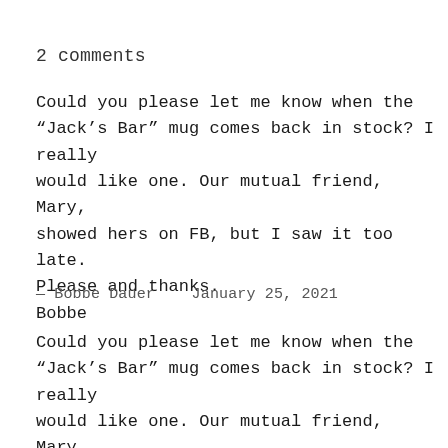2 comments
Could you please let me know when the “Jack’s Bar” mug comes back in stock? I really would like one. Our mutual friend, Mary, showed hers on FB, but I saw it too late. Please and thanks.
Bobbe
— Bobbe Dauer   January 25, 2021
Could you please let me know when the “Jack’s Bar” mug comes back in stock? I really would like one. Our mutual friend, Mary, showed hers on FB, but I saw it too late. Please and thanks.